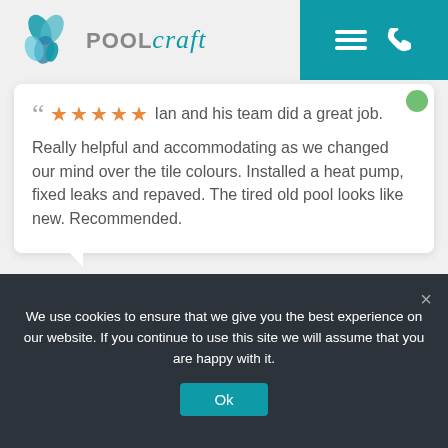[Figure (logo): Poolcraft logo with teal/blue flower icon and POOL in grey, craft in teal cursive font]
[Figure (screenshot): Teal navigation bar with hamburger menu and phone icons]
Ian and his team did a great job. Really helpful and accommodating as we changed our mind over the tile colours. Installed a heat pump, fixed leaks and repaved. The tired old pool looks like new. Recommended.
James Rutter
a month ago
We use cookies to ensure that we give you the best experience on our website. If you continue to use this site we will assume that you are happy with it.